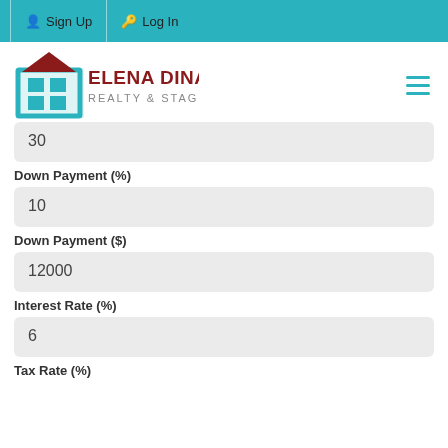Sign Up  Log In
[Figure (logo): Elena Dinaburg Realty & Staging logo with teal house icon and dark red text]
30
Down Payment (%)
10
Down Payment ($)
12000
Interest Rate (%)
6
Tax Rate (%)